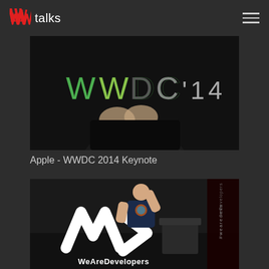WWtalks
[Figure (photo): WWDC 2014 keynote presenter holding a remote, dark background with WWDC'14 logo text in colorful letters]
Apple - WWDC 2014 Keynote
[Figure (photo): Presenter on stage at WeAreDevelopers conference, wearing a dark t-shirt, gesturing with one hand raised. Large W logo on stage floor, WeAreDevelopers branding visible. Side banner reads #wearedevs and reDevelopers.]